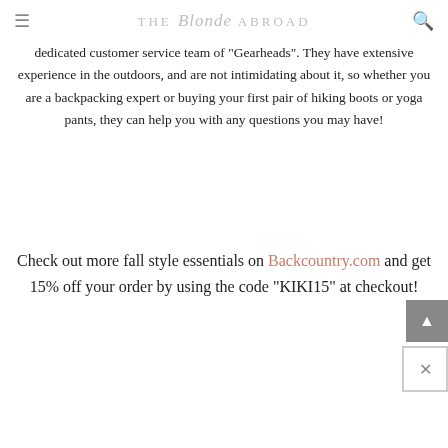THE Blonde ABROAD
dedicated customer service team of "Gearheads". They have extensive experience in the outdoors, and are not intimidating about it, so whether you are a backpacking expert or buying your first pair of hiking boots or yoga pants, they can help you with any questions you may have!
Check out more fall style essentials on Backcountry.com and get 15% off your order by using the code “KIKI15” at checkout!